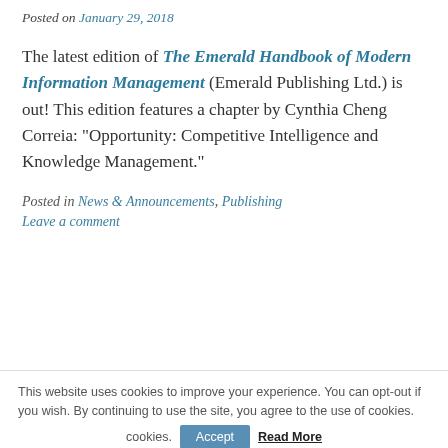Posted on January 29, 2018
The latest edition of The Emerald Handbook of Modern Information Management (Emerald Publishing Ltd.) is out! This edition features a chapter by Cynthia Cheng Correia: "Opportunity: Competitive Intelligence and Knowledge Management."
Posted in News & Announcements, Publishing
Leave a comment
This website uses cookies to improve your experience. You can opt-out if you wish. By continuing to use the site, you agree to the use of cookies.